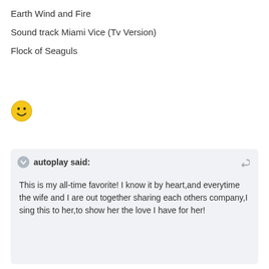Earth Wind and Fire
Sound track Miami Vice (Tv Version)
Flock of Seaguls
[Figure (illustration): Yellow smiley face emoji]
autoplay said:
This is my all-time favorite! I know it by heart,and everytime the wife and I are out together sharing each others company,I sing this to her,to show her the love I have for her!